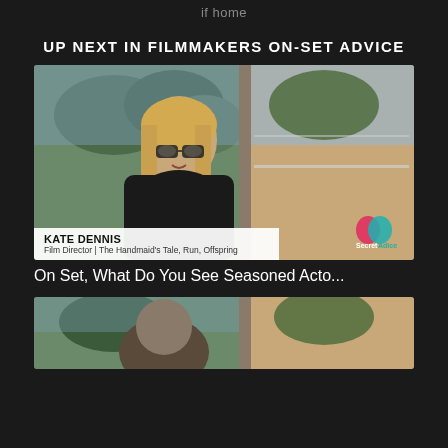if home
UP NEXT IN FILMMAKERS ON-SET ADVICE
[Figure (photo): Video thumbnail showing Kate Dennis, Film Director (The Handmaid's Tale, Run, Offspring), a woman with blonde hair and black-rimmed glasses wearing a black top, seated with trees and a balcony visible in background. Lower-left overlay bar shows her name and title. A logo appears at bottom right.]
On Set, What Do You See Seasoned Acto...
[Figure (photo): Partial video thumbnail at bottom of page showing a person seated with trees and window visible in background, cropped.]